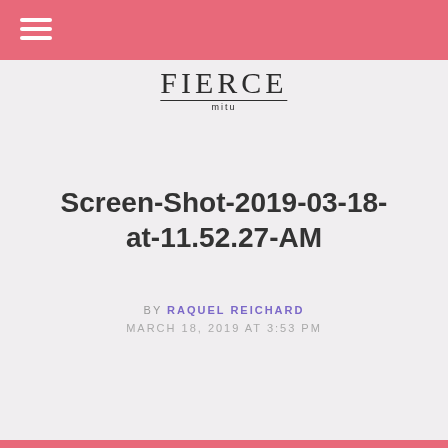FIERCE mitu
Screen-Shot-2019-03-18-at-11.52.27-AM
BY RAQUEL REICHARD MARCH 18, 2019 AT 3:53 PM